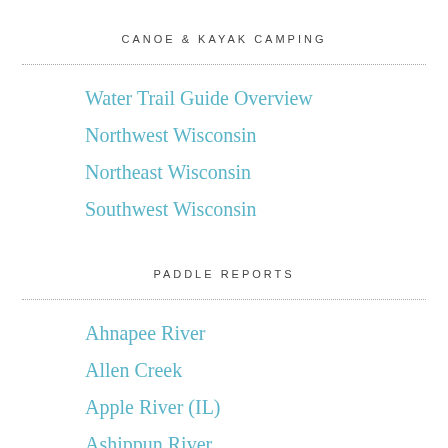CANOE & KAYAK CAMPING
Water Trail Guide Overview
Northwest Wisconsin
Northeast Wisconsin
Southwest Wisconsin
PADDLE REPORTS
Ahnapee River
Allen Creek
Apple River (IL)
Ashippun River